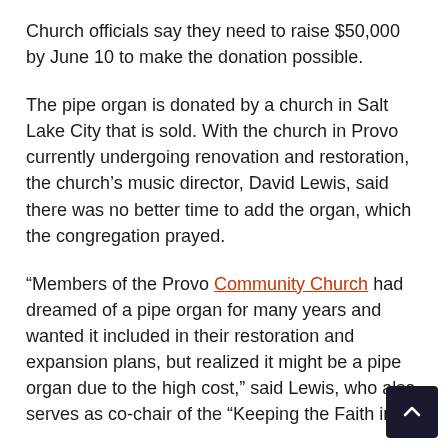Church officials say they need to raise $50,000 by June 10 to make the donation possible.
The pipe organ is donated by a church in Salt Lake City that is sold. With the church in Provo currently undergoing renovation and restoration, the church's music director, David Lewis, said there was no better time to add the organ, which the congregation prayed.
“Members of the Provo Community Church had dreamed of a pipe organ for many years and wanted it included in their restoration and expansion plans, but realized it might be a pipe organ due to the high cost,” said Lewis, who also serves as co-chair of the “Keeping the Faith in